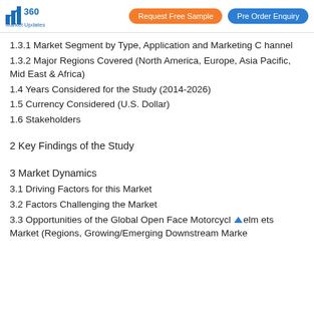360 Market Updates | Request Free Sample | Pre Order Enquiry
1.3.1 Market Segment by Type, Application and Marketing Channel
1.3.2 Major Regions Covered (North America, Europe, Asia Pacific, Mid East & Africa)
1.4 Years Considered for the Study (2014-2026)
1.5 Currency Considered (U.S. Dollar)
1.6 Stakeholders
2 Key Findings of the Study
3 Market Dynamics
3.1 Driving Factors for this Market
3.2 Factors Challenging the Market
3.3 Opportunities of the Global Open Face Motorcycle Helmets Market (Regions, Growing/Emerging Downstream Marke